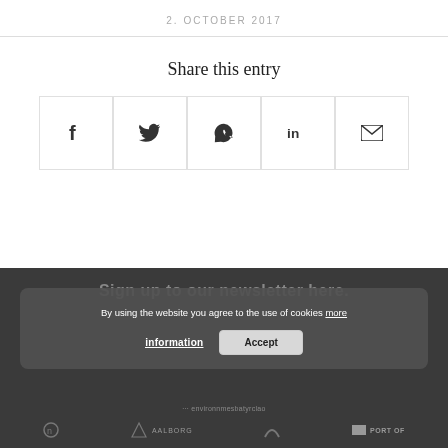2. OCTOBER 2017
Share this entry
[Figure (infographic): Five social share buttons: Facebook (f), Twitter (bird), WhatsApp (speech bubble with phone), LinkedIn (in), Email (envelope)]
Sign up to our newsletter here.
By using the website you agree to the use of cookies more information
Accept
... environnmesbatyrclao